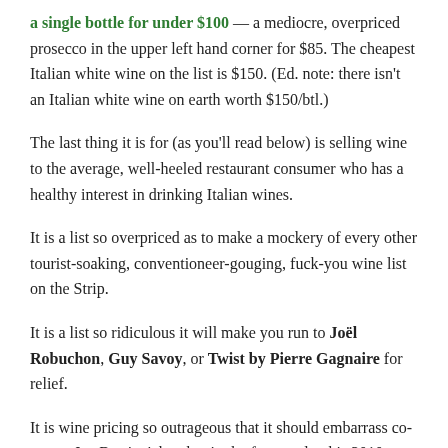a single bottle for under $100 — a mediocre, overpriced prosecco in the upper left hand corner for $85. The cheapest Italian white wine on the list is $150. (Ed. note: there isn't an Italian white wine on earth worth $150/btl.)
The last thing it is for (as you'll read below) is selling wine to the average, well-heeled restaurant consumer who has a healthy interest in drinking Italian wines.
It is a list so overpriced as to make a mockery of every other tourist-soaking, conventioneer-gouging, fuck-you wine list on the Strip.
It is a list so ridiculous it will make you run to Joël Robuchon, Guy Savoy, or Twist by Pierre Gagnaire for relief.
It is wine pricing so outrageous that it should embarrass co-owner Joe Bastianich, who, in the foreward to his 2010 book Grandi Vini